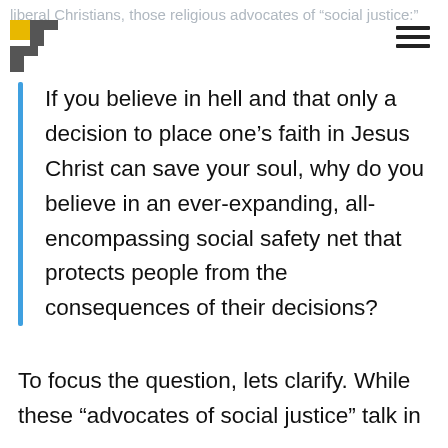liberal Christians, those religious advocates of “social justice:”
If you believe in hell and that only a decision to place one’s faith in Jesus Christ can save your soul, why do you believe in an ever-expanding, all-encompassing social safety net that protects people from the consequences of their decisions?
To focus the question, lets clarify. While these “advocates of social justice” talk in